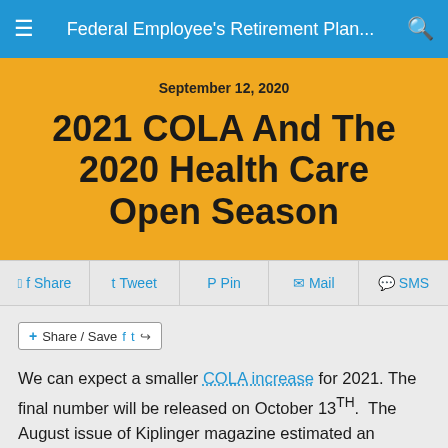Federal Employee's Retirement Plan...
September 12, 2020
2021 COLA And The 2020 Health Care Open Season
Share | Tweet | Pin | Mail | SMS
Share / Save
We can expect a smaller COLA increase for 2021. The final number will be released on October 13TH.  The August issue of Kiplinger magazine estimated an